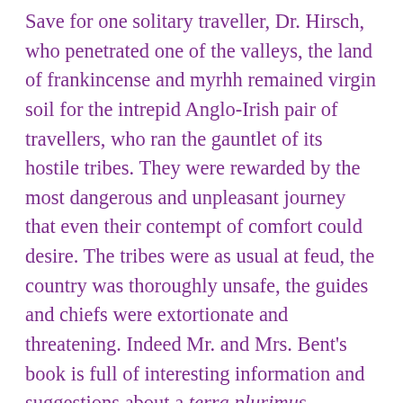Save for one solitary traveller, Dr. Hirsch, who penetrated one of the valleys, the land of frankincense and myrhh remained virgin soil for the intrepid Anglo-Irish pair of travellers, who ran the gauntlet of its hostile tribes. They were rewarded by the most dangerous and unpleasant journey that even their contempt of comfort could desire. The tribes were as usual at feud, the country was thoroughly unsafe, the guides and chiefs were extortionate and threatening. Indeed Mr. and Mrs. Bent's book is full of interesting information and suggestions about a terra plurimus incognita. The seven journeys were rich in observation of men and manners or perhaps of women and no manners, and not least in botanical and